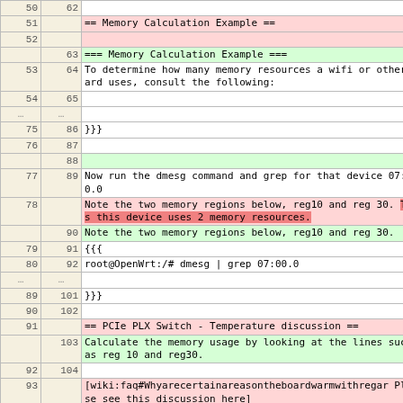| col_old | col_new | content |
| --- | --- | --- |
| 50 | 62 |  |
| 51 |  | == Memory Calculation Example == |
| 52 |  |  |
|  | 63 | === Memory Calculation Example === |
| 53 | 64 | To determine how many memory resources a wifi or other card uses, consult the following: |
| 54 | 65 |  |
| ... | ... |  |
| 75 | 86 | }}} |
| 76 | 87 |  |
|  | 88 |  |
| 77 | 89 | Now run the dmesg command and grep for that device 07:00.0 |
| 78 |  | Note the two memory regions below, reg10 and reg 30.  Thus this device uses 2 memory resources. |
|  | 90 | Note the two memory regions below, reg10 and reg 30. |
| 79 | 91 | {{{ |
| 80 | 92 | root@OpenWrt:/# dmesg | grep 07:00.0 |
| ... | ... |  |
| 89 | 101 | }}} |
| 90 | 102 |  |
| 91 |  | == PCIe PLX Switch - Temperature discussion == |
|  | 103 | Calculate the memory usage by looking at the lines such as reg 10 and reg30. |
| 92 | 104 |  |
| 93 |  | [wiki:faq#Whyarecertainareasontheboardwarmwithregar Please see this discussion here] |
|  | 105 | Look at the mem portion and calculate the size between 0x00 and the other number. |
| 94 | 106 |  |
| 95 |  | == What throughput does the PCIe lane support? == |
|  | 107 | For example: |